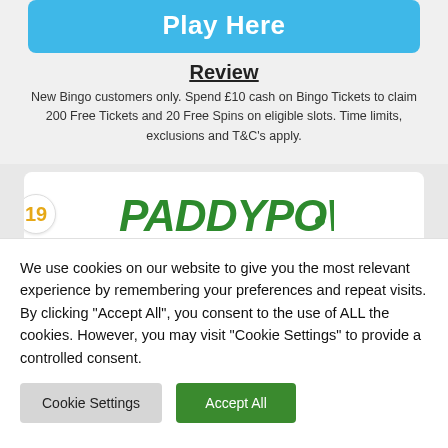Play Here
Review
New Bingo customers only. Spend £10 cash on Bingo Tickets to claim 200 Free Tickets and 20 Free Spins on eligible slots. Time limits, exclusions and T&C's apply.
[Figure (logo): Paddy Power logo in green stylized text with dot]
We use cookies on our website to give you the most relevant experience by remembering your preferences and repeat visits. By clicking "Accept All", you consent to the use of ALL the cookies. However, you may visit "Cookie Settings" to provide a controlled consent.
Cookie Settings | Accept All